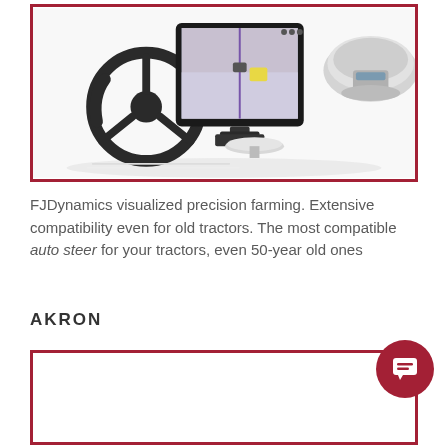[Figure (photo): Product photo showing FJDynamics precision farming equipment: a steering wheel, a tablet/display with mapping interface, a GPS dome receiver, and antenna components, all on a white reflective surface with a dark red border frame.]
FJDynamics visualized precision farming. Extensive compatibility even for old tractors. The most compatible auto steer for your tractors, even 50-year old ones
AKRON
[Figure (photo): Partially visible product image inside a dark red border frame, with a chat bubble icon in the top-right corner of the frame.]